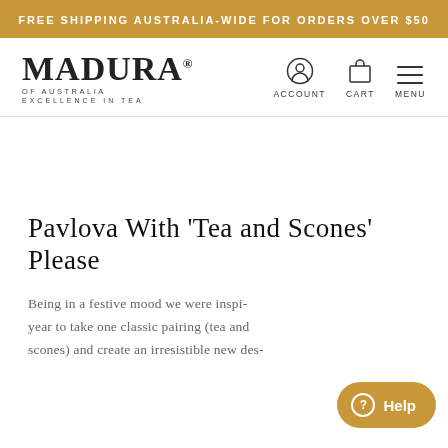FREE SHIPPING AUSTRALIA-WIDE FOR ORDERS OVER $50
[Figure (logo): Madura of Australia Excellence in Tea logo with account, cart, and menu navigation icons]
Pavlova With 'Tea and Scones' Please
Being in a festive mood we were inspired this year to take one classic pairing (tea and scones) and create an irresistible new dessert